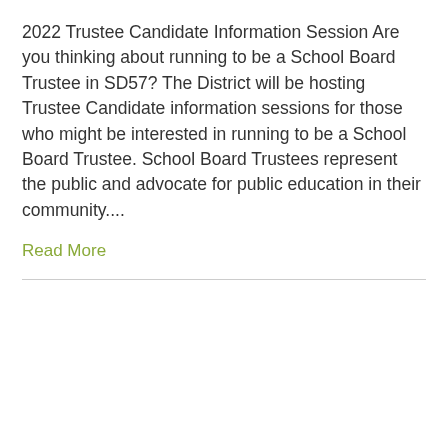2022 Trustee Candidate Information Session Are you thinking about running to be a School Board Trustee in SD57? The District will be hosting Trustee Candidate information sessions for those who might be interested in running to be a School Board Trustee. School Board Trustees represent the public and advocate for public education in their community....
Read More